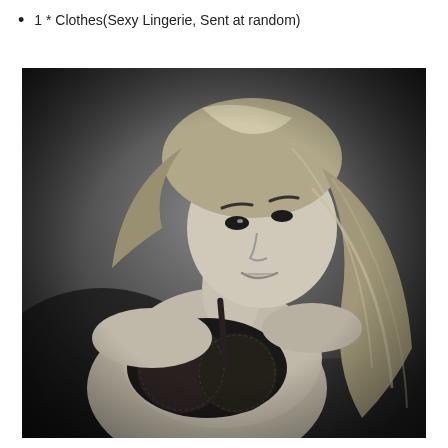1 * Clothes(Sexy Lingerie, Sent at random)
[Figure (photo): Black and white photograph of a blonde woman wearing black lace lingerie, leaning forward and smiling at the camera with her hair flowing loosely.]